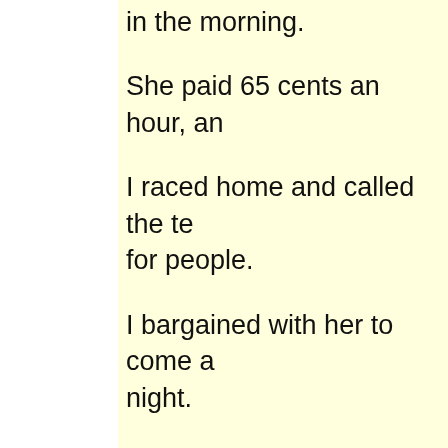in the morning.
She paid 65 cents an hour, an
I raced home and called the te for people.
I bargained with her to come a night.
She could arrive with her paja asleep
This seemed like a good arran
That night when the little ones